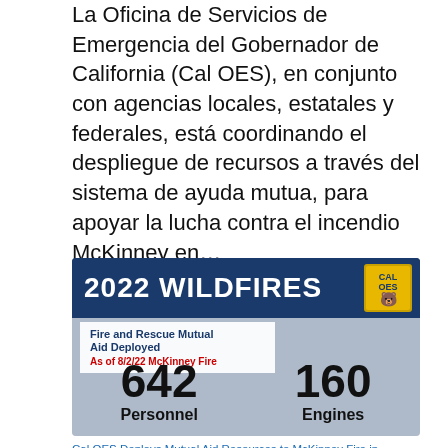La Oficina de Servicios de Emergencia del Gobernador de California (Cal OES), en conjunto con agencias locales, estatales y federales, está coordinando el despliegue de recursos a través del sistema de ayuda mutua, para apoyar la lucha contra el incendio McKinney en…
[Figure (infographic): 2022 Wildfires infographic showing Cal OES Fire and Rescue Mutual Aid Deployed as of 8/2/22 McKinney Fire: 642 Personnel and 160 Engines]
Cal OES Deploys Mutual Aid Resources to McKinney Fire in